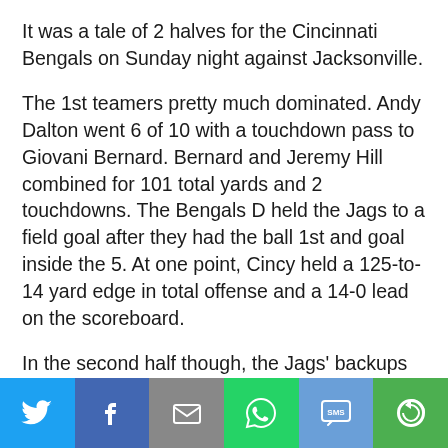It was a tale of 2 halves for the Cincinnati Bengals on Sunday night against Jacksonville.
The 1st teamers pretty much dominated. Andy Dalton went 6 of 10 with a touchdown pass to Giovani Bernard. Bernard and Jeremy Hill combined for 101 total yards and 2 touchdowns. The Bengals D held the Jags to a field goal after they had the ball 1st and goal inside the 5. At one point, Cincy held a 125-to-14 yard edge in total offense and a 14-0 lead on the scoreboard.
In the second half though, the Jags’ backups brought
[Figure (infographic): Social sharing bar with Twitter, Facebook, Email, WhatsApp, SMS, and More buttons]